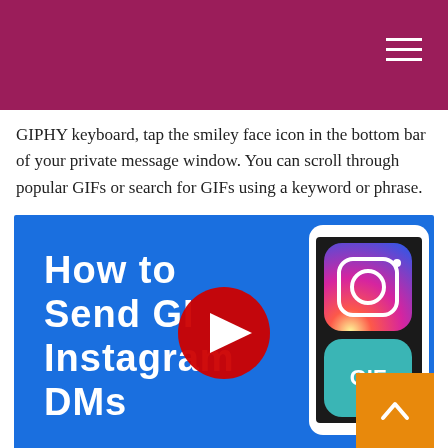GIPHY keyboard, tap the smiley face icon in the bottom bar of your private message window. You can scroll through popular GIFs or search for GIFs using a keyword or phrase.
[Figure (screenshot): YouTube video thumbnail showing 'How to Send GIFs on Instagram DMs' with blue background, white bold text, YouTube play button in center, and a phone mockup showing Instagram and GIF app icons on the right.]
How do you copy and paste a GIF on